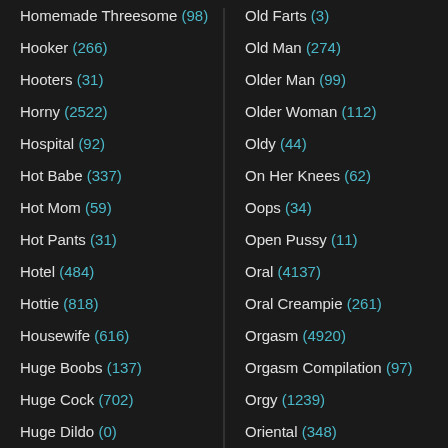Homemade Threesome (98)
Hooker (266)
Hooters (31)
Horny (2522)
Hospital (92)
Hot Babe (337)
Hot Mom (59)
Hot Pants (31)
Hotel (484)
Hottie (818)
Housewife (616)
Huge Boobs (137)
Huge Cock (702)
Huge Dildo (0)
Humiliation (759)
Old Farts (3)
Old Man (274)
Older Man (99)
Older Woman (112)
Oldy (44)
On Her Knees (62)
Oops (34)
Open Pussy (11)
Oral (4137)
Oral Creampie (261)
Orgasm (4920)
Orgasm Compilation (97)
Orgy (1239)
Oriental (348)
Outdoor (4048)